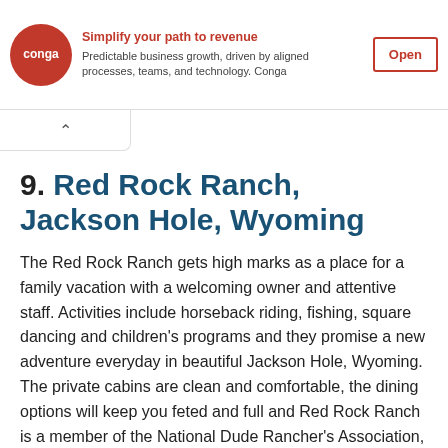[Figure (logo): Conga advertisement banner with red circular logo, ad text about predictable business growth, and an Open button]
9. Red Rock Ranch, Jackson Hole, Wyoming
The Red Rock Ranch gets high marks as a place for a family vacation with a welcoming owner and attentive staff. Activities include horseback riding, fishing, square dancing and children's programs and they promise a new adventure everyday in beautiful Jackson Hole, Wyoming. The private cabins are clean and comfortable, the dining options will keep you feted and full and Red Rock Ranch is a member of the National Dude Rancher's Association, ensuring a level of quality and authenticity for your dude ranch holiday.